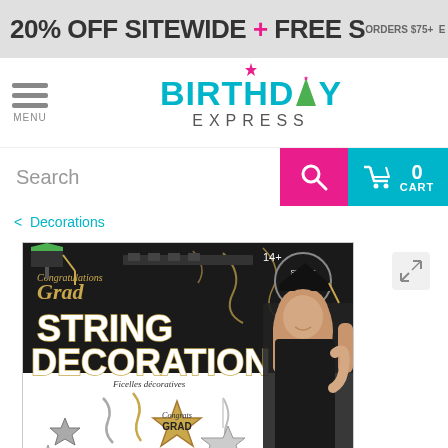20% OFF SITEWIDE + FREE S... ORDERS $75+ E...
[Figure (logo): Birthday Express logo with teal BIRTHDAY text, party hat icon, and EXPRESS text below]
Search
0 CART
< Decorations
[Figure (photo): Product package for Graduation String Decoration Set of 3 by Amscan. Black and gold themed package with 'Congratulations Grad' and 'STRING DECORATION' text, silver/gold star decorations, and a woman in graduation cap and gown.]